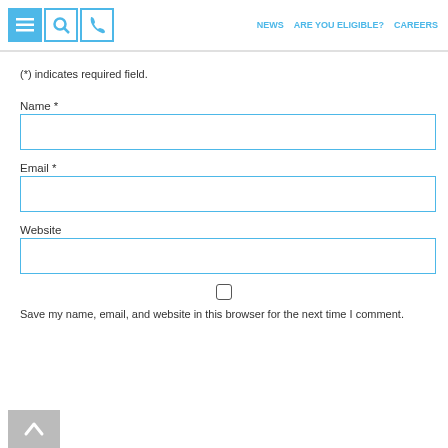NEWS  ARE YOU ELIGIBLE?  CAREERS
(*) indicates required field.
Name *
Email *
Website
Save my name, email, and website in this browser for the next time I comment.